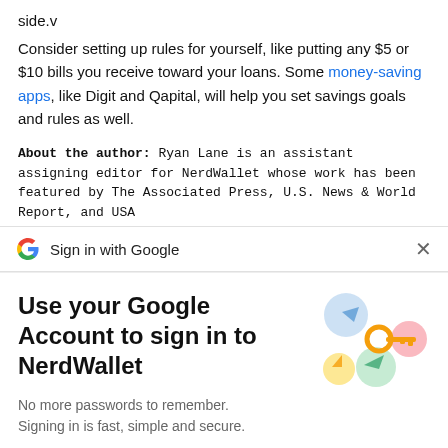side.v
Consider setting up rules for yourself, like putting any $5 or $10 bills you receive toward your loans. Some money-saving apps, like Digit and Qapital, will help you set savings goals and rules as well.
About the author: Ryan Lane is an assistant assigning editor for NerdWallet whose work has been featured by The Associated Press, U.S. News & World Report, and USA...
[Figure (screenshot): Google Sign-in prompt overlay showing 'Sign in with Google' bar with Google logo and close button, followed by a modal with 'Use your Google Account to sign in to NerdWallet' heading, subtitle 'No more passwords to remember. Signing in is fast, simple and secure.', a Google keys illustration, and a blue Continue button.]